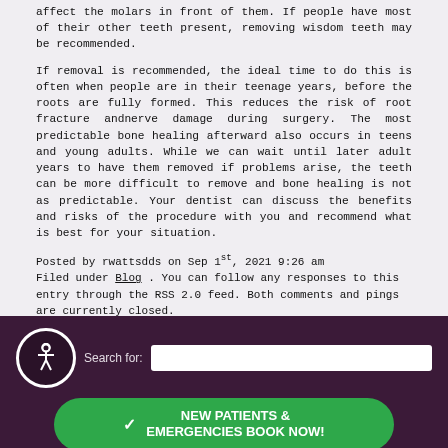affect the molars in front of them. If people have most of their other teeth present, removing wisdom teeth may be recommended.
If removal is recommended, the ideal time to do this is often when people are in their teenage years, before the roots are fully formed. This reduces the risk of root fracture and nerve damage during surgery. The most predictable bone healing afterward also occurs in teens and young adults. While we can wait until later adult years to have them removed if problems arise, the teeth can be more difficult to remove and bone healing is not as predictable. Your dentist can discuss the benefits and risks of the procedure with you and recommend what is best for your situation.
Posted by rwattsdds on Sep 1st, 2021 9:26 am
Filed under Blog . You can follow any responses to this entry through the RSS 2.0 feed. Both comments and pings are currently closed.
Tags: wisdom teeth
Comments are closed.
Search for: NEW PATIENTS & EMERGENCIES BOOK NOW! April 2022